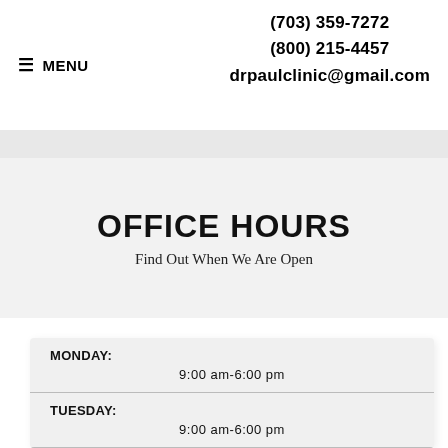(703) 359-7272
(800) 215-4457
drpaulclinic@gmail.com
≡ MENU
OFFICE HOURS
Find Out When We Are Open
| Day | Hours |
| --- | --- |
| MONDAY: | 9:00 am-6:00 pm |
| TUESDAY: | 9:00 am-6:00 pm |
| WEDNESDAY: | 9:00 am-6:00 pm |